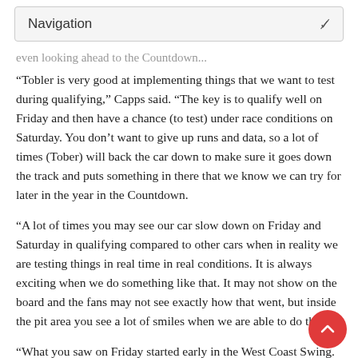Navigation
even looking ahead to the Countdown...
“Tobler is very good at implementing things that we want to test during qualifying,” Capps said. “The key is to qualify well on Friday and then have a chance (to test) under race conditions on Saturday. You don’t want to give up runs and data, so a lot of times (Tober) will back the car down to make sure it goes down the track and puts something in there that we know we can try for later in the year in the Countdown.
“A lot of times you may see our car slow down on Friday and Saturday in qualifying compared to other cars when in reality we are testing things in real time in real conditions. It is always exciting when we do something like that. It may not show on the board and the fans may not see exactly how that went, but inside the pit area you see a lot of smiles when we are able to do that.
“What you saw on Friday started early in the West Coast Swing. It started Saturday in Sonoma and that is what r... gave us momentum for Sunday in Seattle and got us to the